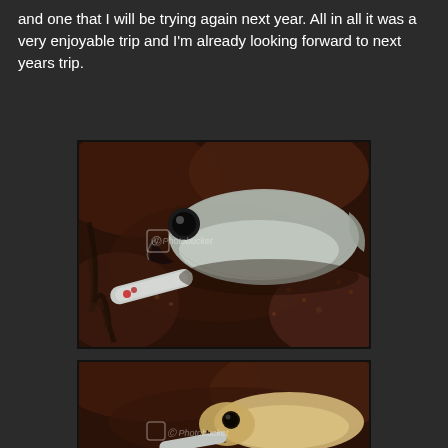and one that I will be trying again next year. All in all it was a very enjoyable trip and I'm already looking forward to next years trip.
[Figure (photo): Close-up photo of a caught fish (bass/pollock) lying on dark rocky/weedy ground with a fishing lure in its mouth. Photobucket watermark visible.]
[Figure (photo): Close-up photo of another fish (lighter colored, possibly a wrasse or similar) on dark rocky ground with a fishing lure, partially visible. Photobucket watermark visible.]